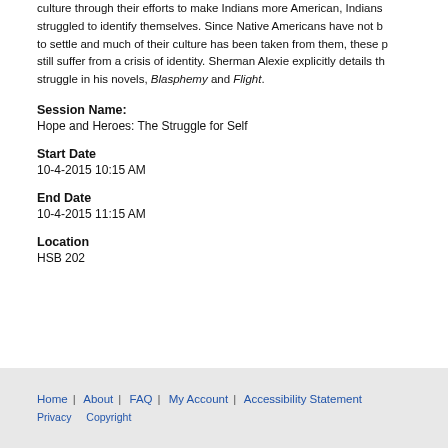culture through their efforts to make Indians more American, Indians struggled to identify themselves. Since Native Americans have not been able to settle and much of their culture has been taken from them, these people still suffer from a crisis of identity. Sherman Alexie explicitly details this struggle in his novels, Blasphemy and Flight.
Session Name:
Hope and Heroes: The Struggle for Self
Start Date
10-4-2015 10:15 AM
End Date
10-4-2015 11:15 AM
Location
HSB 202
Home | About | FAQ | My Account | Accessibility Statement Privacy Copyright